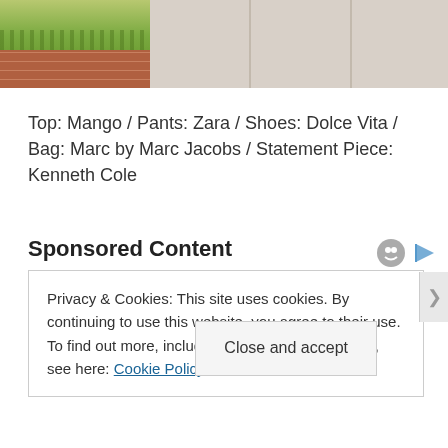[Figure (photo): Partial photo showing grass, brick pavement, and concrete sidewalk at the bottom of an outdoor photo]
Top: Mango / Pants: Zara / Shoes: Dolce Vita / Bag: Marc by Marc Jacobs / Statement Piece: Kenneth Cole
Sponsored Content
Privacy & Cookies: This site uses cookies. By continuing to use this website, you agree to their use.
To find out more, including how to control cookies, see here: Cookie Policy
Close and accept